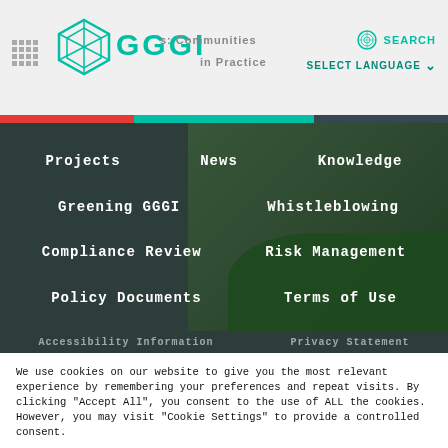[Figure (screenshot): GGGI website header with logo, navigation menu over dark green background with green foliage, and cookie consent dialog at the bottom]
GGGI
We use cookies on our website to give you the most relevant experience by remembering your preferences and repeat visits. By clicking "Accept All", you consent to the use of ALL the cookies. However, you may visit "Cookie Settings" to provide a controlled consent.
Cookie Settings
Accept All
Reject All